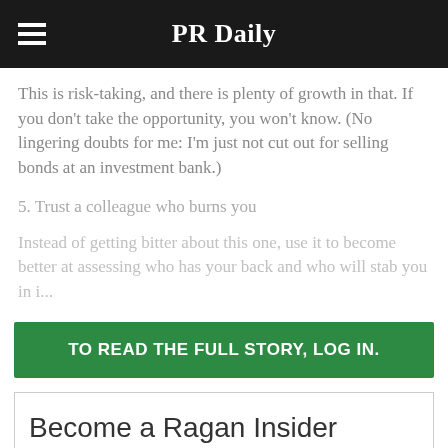PR Daily
This is risk-taking, and there is plenty of growth in that. If you don't take the opportunity, you won't know. (No lingering doubts for me: I'm just not cut out for selling bonds at an investment bank.)
5. Trust a colleague who burns you
Instead of getting bitter about this one, use it to become better at assessing who has your back and who will stab you in i...
TO READ THE FULL STORY, LOG IN.
Become a Ragan Insider member to read this article and